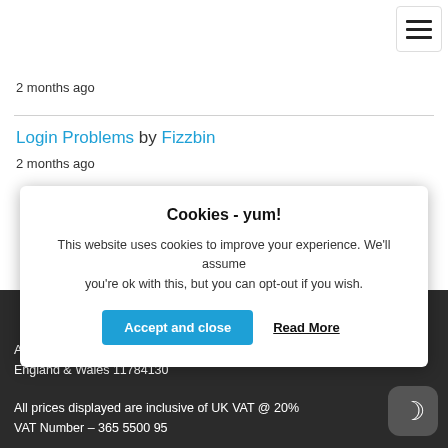2 months ago
Login Problems by Fizzbin
2 months ago
Cookies - yum!
This website uses cookies to improve your experience. We'll assume you're ok with this, but you can opt-out if you wish.
Accept and close   Read More
Alan Thomson Simulation limited – Registered in England & Wales 11784130

All prices displayed are inclusive of UK VAT @ 20%
VAT Number – 365 5500 95